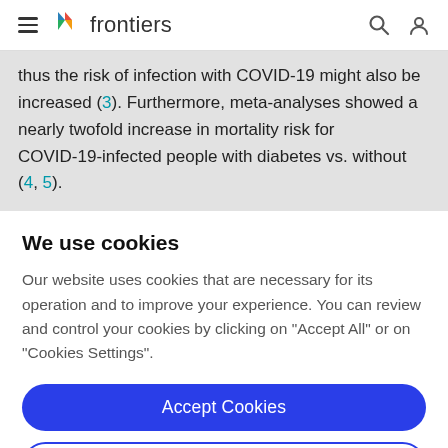frontiers
thus the risk of infection with COVID-19 might also be increased (3). Furthermore, meta-analyses showed a nearly twofold increase in mortality risk for COVID-19-infected people with diabetes vs. without (4, 5).
We use cookies
Our website uses cookies that are necessary for its operation and to improve your experience. You can review and control your cookies by clicking on "Accept All" or on "Cookies Settings".
Accept Cookies
Cookies Settings